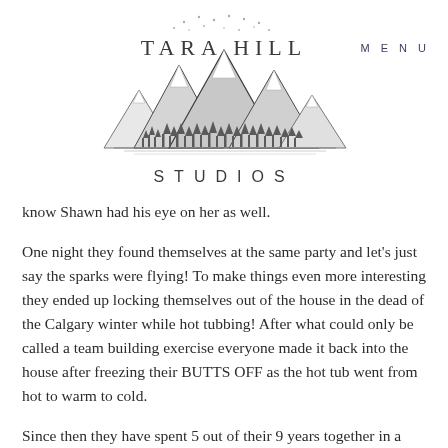[Figure (logo): Tara Hill Studios logo with mountain illustration and text]
MENU
know Shawn had his eye on her as well.
One night they found themselves at the same party and let's just say the sparks were flying! To make things even more interesting they ended up locking themselves out of the house in the dead of the Calgary winter while hot tubbing! After what could only be called a team building exercise everyone made it back into the house after freezing their BUTTS OFF as the hot tub went from hot to warm to cold.
Since then they have spent 5 out of their 9 years together in a long distance relationship while going to